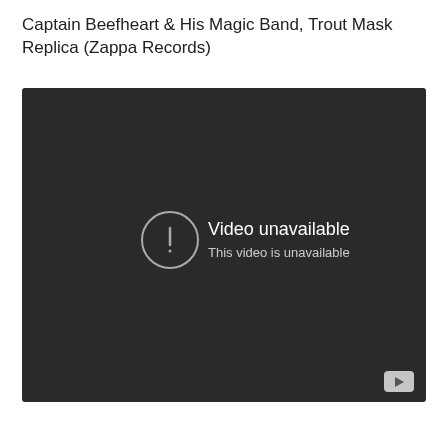Captain Beefheart & His Magic Band, Trout Mask Replica (Zappa Records)
[Figure (screenshot): Embedded video player showing a dark background with a 'Video unavailable / This video is unavailable' error message and a circular exclamation icon in the center, and a small YouTube play button icon in the bottom right corner.]